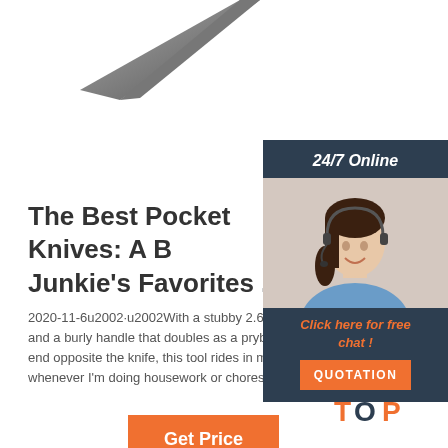[Figure (photo): Partial view of a dark knife blade at the top of the page]
The Best Pocket Knives: A B Junkie's Favorites ...
2020-11-6u2002·u2002With a stubby 2.625- and a burly handle that doubles as a prybar e end opposite the knife, this tool rides in my p whenever I'm doing housework or chores.
[Figure (photo): 24/7 Online customer support widget showing a smiling woman with headset, with 'Click here for free chat!' text and a QUOTATION button]
[Figure (logo): TOP logo with orange dots arranged in a triangle above the text TOP in orange with dark blue letter O]